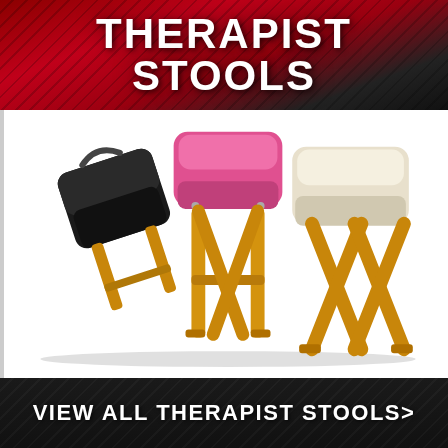THERAPIST STOOLS
[Figure (photo): Three therapist folding stools with wooden X-frame legs displayed together: a black upholstered stool folded/leaning, a pink upholstered stool, and a cream/beige upholstered stool. All have wooden natural-color folding frames.]
VIEW ALL THERAPIST STOOLS>